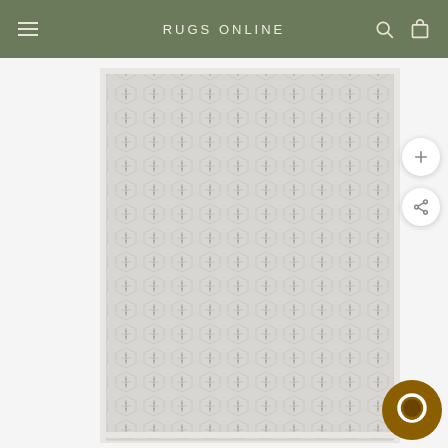RUGS ONLINE
[Figure (photo): Close-up product photo of a rug with a repeating geometric diamond/hexagon pattern in grey and white tones with dark small motifs throughout, shown with a light border edge.]